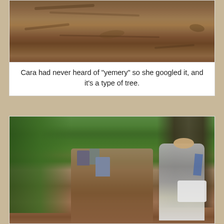[Figure (photo): Top portion of a photo showing a dirt ground/path with reddish-brown soil and some leaves/debris, cropped at top]
Cara had never heard of "yemery" so she googled it, and it's a type of tree.
[Figure (photo): People hiking on a jungle path surrounded by dense tropical vegetation including palm trees. A man in the foreground is turning to look at the camera, carrying a backpack and white bag. Other hikers are visible walking ahead on the red dirt trail.]